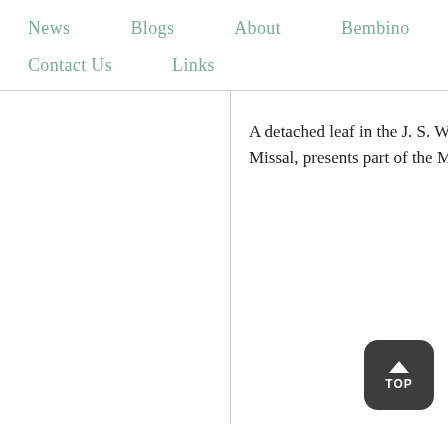News   Blogs   About   Bembino   Congress   Ev
Contact Us   Links
A detached leaf in the J. S. W Missal, presents part of the M